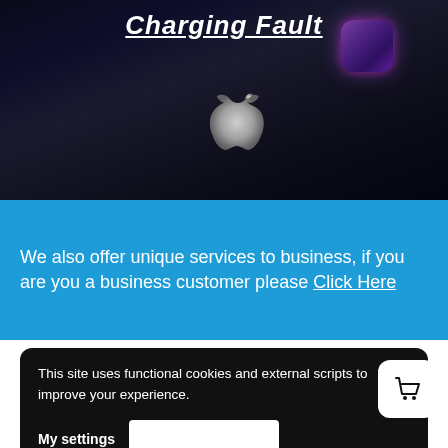[Figure (photo): Dark smartphone (iPhone) with glowing purple app icon in top right corner and Apple logo visible, set against dark background. Partial heading text 'Charging Fault' visible at top.]
We also offer unique services to business, if you are you a business customer please Click Here
This site uses functional cookies and external scripts to improve your experience.
My settings
upgrades or an iMac repair service? Get